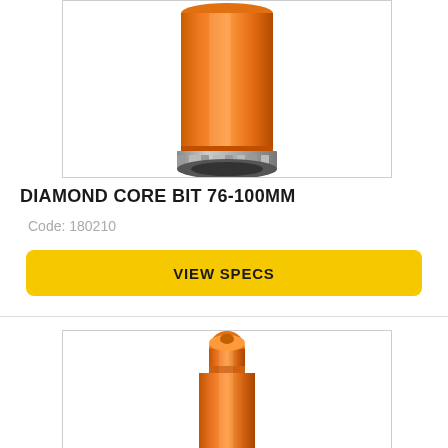[Figure (photo): Orange diamond core drill bit 76-100mm shown from the side with silver diamond-tipped cutting end at bottom, cylindrical orange body tapering slightly, photographed against white background within a bordered box.]
DIAMOND CORE BIT 76-100MM
Code: 180210
VIEW SPECS
[Figure (photo): Orange drill bit or core bit shown from the side, with a pointed/rounded top cap and wider cylindrical body tapering toward the visible portion, orange color, photographed against white background within a bordered box.]